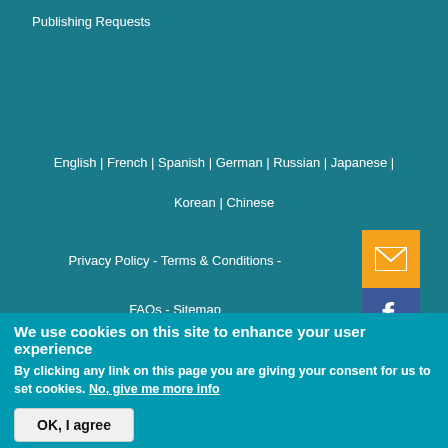Publishing Requests
English | French | Spanish | German | Russian | Japanese |
Korean | Chinese
Privacy Policy - Terms & Conditions -
FAQs - Sitemap
[Figure (infographic): Orange email button with envelope icon]
[Figure (infographic): Facebook button with f logo]
We use cookies on this site to enhance your user experience
By clicking any link on this page you are giving your consent for us to set cookies. No, give me more info
OK, I agree